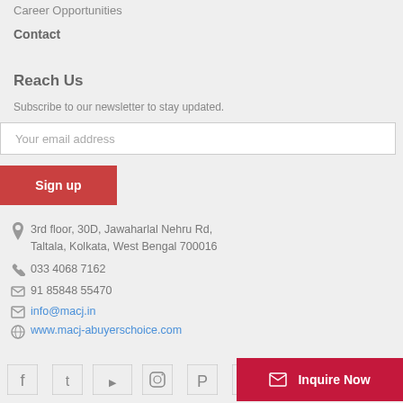Career Opportunities
Contact
Reach Us
Subscribe to our newsletter to stay updated.
Your email address
Sign up
3rd floor, 30D, Jawaharlal Nehru Rd,
Taltala, Kolkata, West Bengal 700016
033 4068 7162
91 85848 55470
info@macj.in
www.macj-abuyerschoice.com
Inquire Now